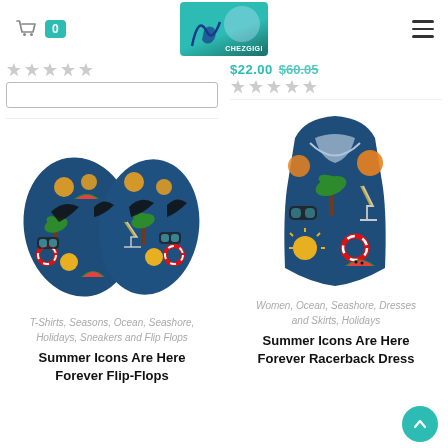Chez Gigi online store header with cart (0 items) and hamburger menu
[Figure (photo): Blue patterned flip-flops with summer beach icons (palm trees, suns, lifebuoys, watermelon) on dark navy blue background]
[Figure (photo): Blue patterned women's racerback dress with summer beach icons (palm trees, suns, lifebuoys, cocktail glass) on dark navy blue background]
T-Shirts, Seasons, Ocean, Seashore, Holidays, Sneakers and Flip Flops
Women, Ocean, Seashore, Dresses and Skirts, Holidays
Summer Icons Are Here Forever Flip-Flops
Summer Icons Are Here Forever Racerback Dress